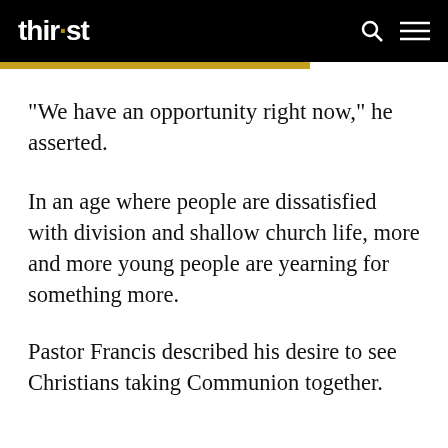thir·st
“We have an opportunity right now,” he asserted.
In an age where people are dissatisfied with division and shallow church life, more and more young people are yearning for something more.
Pastor Francis described his desire to see Christians taking Communion together.